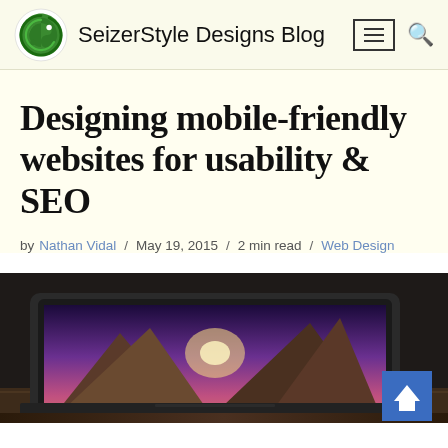SeizerStyle Designs Blog
Designing mobile-friendly websites for usability & SEO
by Nathan Vidal / May 19, 2015 / 2 min read / Web Design
[Figure (photo): Laptop/MacBook displaying a mountain lake landscape wallpaper, placed on a wooden surface, partially cropped]